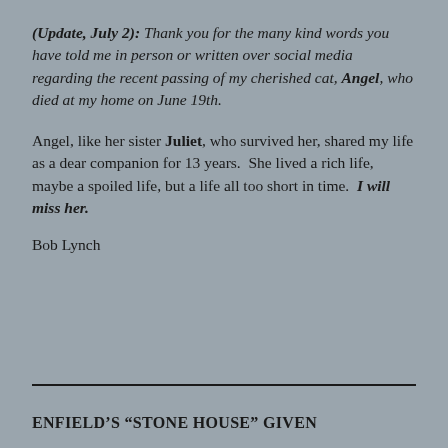(Update, July 2):  Thank you for the many kind words you have told me in person or written over social media regarding the recent passing of my cherished cat, Angel, who died at my home on June 19th.
Angel, like her sister Juliet, who survived her, shared my life as a dear companion for 13 years.  She lived a rich life, maybe a spoiled life, but a life all too short in time.  I will miss her.
Bob Lynch
ENFIELD'S “STONE HOUSE” GIVEN